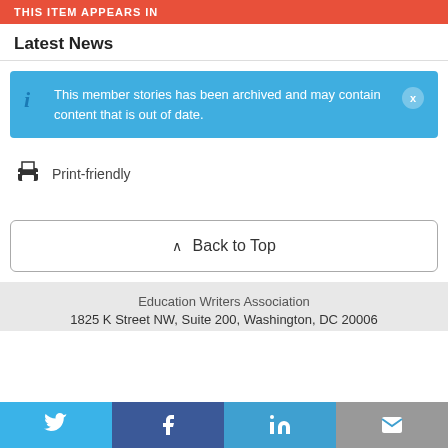THIS ITEM APPEARS IN
Latest News
This member stories has been archived and may contain content that is out of date.
Print-friendly
^ Back to Top
Education Writers Association
1825 K Street NW, Suite 200, Washington, DC 20006